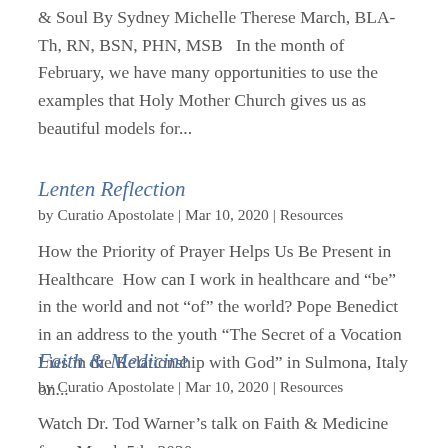& Soul By Sydney Michelle Therese March, BLA-Th, RN, BSN, PHN, MSB   In the month of February, we have many opportunities to use the examples that Holy Mother Church gives us as beautiful models for...
Lenten Reflection
by Curatio Apostolate | Mar 10, 2020 | Resources
How the Priority of Prayer Helps Us Be Present in Healthcare  How can I work in healthcare and “be” in the world and not “of” the world? Pope Benedict in an address to the youth “The Secret of a Vocation Lies in the Relationship with God” in Sulmona, Italy on...
Faith & Medicine
by Curatio Apostolate | Mar 10, 2020 | Resources
Watch Dr. Tod Warner’s talk on Faith & Medicine from March 5th, 2020.